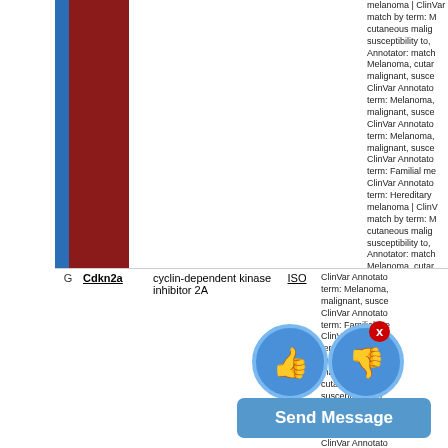| G | Gene | Name | ISO | Annotation |
| --- | --- | --- | --- | --- |
| G | Cdkn2a | cyclin-dependent kinase inhibitor 2A | ISO | melanoma | ClinVar Annotator: match by term: M cutaneous malig susceptibility to, Annotator: match Melanoma, cutan malignant, susce ClinVar Annotato term: Melanoma, malignant, susce ClinVar Annotato term: Melanoma, malignant, susce ClinVar Annotato term: Familial me ClinVar Annotato term: Hereditary melanoma | ClinV match by term: M cutaneous malig susceptibility to, Annotator: match Melanoma, cutan malignant, susce ClinVar Annotato term: Melanoma, malignant, susce |
| G | Cdkn2b | cyclin-dependent kinase inhibitor 2B | ISO | ClinVar Annotato term: Familial me ClinVar Annotato term: Melanoma, malignant, susce |
| G | Fanca | FA complementation group A | ISO | ClinVar Annotato term: Melanoma, malignant, susce |
| G | Klc1 | kinesin light chain 1 | ISO | ClinVar Annotato term: Melanoma, malignant, susce ClinVar Annotato |
[Figure (screenshot): UI overlay with thumbs up (blue circle with thumbs-up emoji), thumbs down (blue circle with thumbs-down emoji), red X badge, and Send Message button in blue]